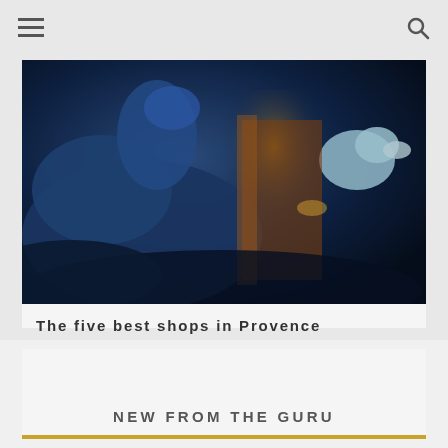☰  🔍
[Figure (photo): Dark-toned photo of goats/sheep in a barn or market setting, with blue light tones and one goat looking to the right.]
The five best shops in Provence
A personal selection of the most enjoyable places to shop in Provence by author of the Moon Guide to Provence, Jamie Ive...
NEW FROM THE GURU